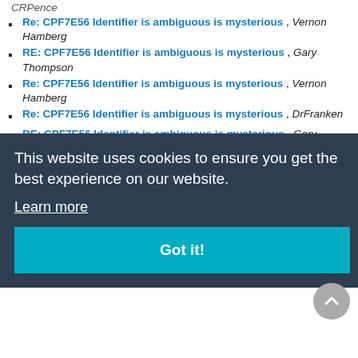CRPence
Re: CPF7E56 Identifier is ambiguous is mysterious , Vernon Hamberg
RE: CPF7E56 Identifier is ambiguous is mysterious , Gary Thompson
Re: CPF7E56 Identifier is ambiguous is mysterious , Vernon Hamberg
Re: CPF7E56 Identifier is ambiguous is mysterious , DrFranken
RE: CPF7E56 Identifier is ambiguous is mysterious , Gary Thompson
RE: CPF7E56 Identifier is ambiguous is mysterious , Gary ...
... Gibbs
... Aaron
, David
... P , Bryan
... p ... o
Re: SSH password authentication user unknown , Scott Klement
This website uses cookies to ensure you get the best experience on our website. Learn more
Got it!